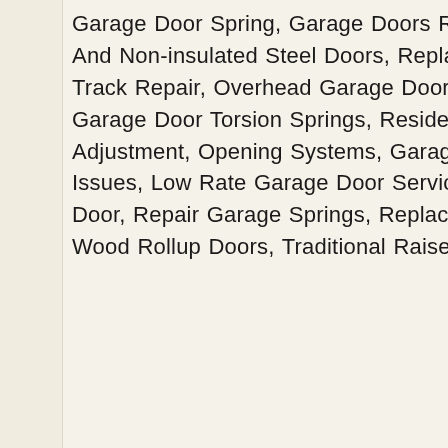Garage Door Spring, Garage Doors Repair, Traditional Style Garage Doors And Non-insulated Steel Doors, Replacing Broken Torsion Springs, Track Repair, Overhead Garage Door Repair, All-wood Garage Doors, Garage Door Torsion Springs, Residential Garage Door, Garage Door Adjustment, Opening Systems, Garage Door Opener Parts, Garage Door Issues, Low Rate Garage Door Service, Garage Door Repair, Roll Up Door, Repair Garage Springs, Replace Garage Doors, Garage Doors, Wood Rollup Doors, Traditional Raised Panel Wood Doors and